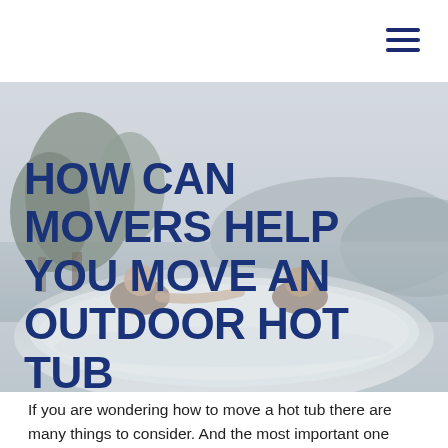[Figure (photo): Two people relaxing in an outdoor hot tub with a misty lake and trees in the background]
HOW CAN MOVERS HELP YOU MOVE AN OUTDOOR HOT TUB
If you are wondering how to move a hot tub there are many things to consider. And the most important one